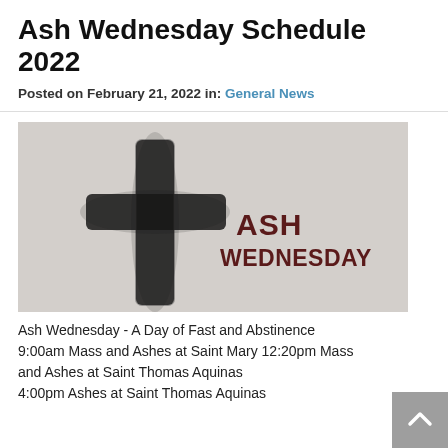Ash Wednesday Schedule 2022
Posted on February 21, 2022 in: General News
[Figure (illustration): Ash Wednesday image: a cross made from ash on a light gray/white textured background, with bold dark red text 'ASH WEDNESDAY' on the right side]
Ash Wednesday - A Day of Fast and Abstinence 9:00am Mass and Ashes at Saint Mary 12:20pm Mass and Ashes at Saint Thomas Aquinas 4:00pm Ashes at Saint Thomas Aquinas